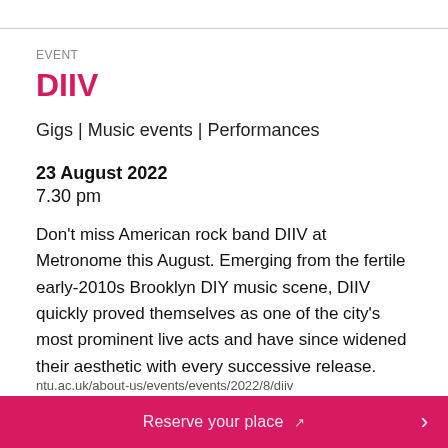EVENT
DIIV
Gigs | Music events | Performances
23 August 2022
7.30 pm
Don't miss American rock band DIIV at Metronome this August. Emerging from the fertile early-2010s Brooklyn DIY music scene, DIIV quickly proved themselves as one of the city's most prominent live acts and have since widened their aesthetic with every successive release.
ntu.ac.uk/about-us/events/events/2022/8/diiv
Reserve your place